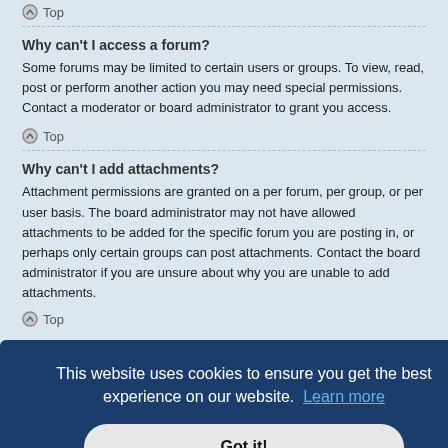Top
Why can't I access a forum?
Some forums may be limited to certain users or groups. To view, read, post or perform another action you may need special permissions. Contact a moderator or board administrator to grant you access.
Top
Why can't I add attachments?
Attachment permissions are granted on a per forum, per group, or per user basis. The board administrator may not have allowed attachments to be added for the specific forum you are posting in, or perhaps only certain groups can post attachments. Contact the board administrator if you are unsure about why you are unable to add attachments.
Top
This website uses cookies to ensure you get the best experience on our website. Learn more
Got it!
Top